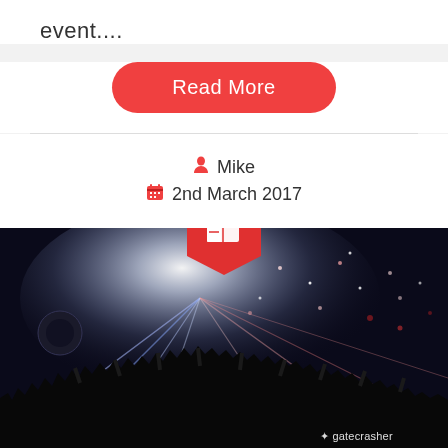event....
Read More
Mike
2nd March 2017
[Figure (photo): Concert/club event photo showing a large crowd with hands raised, bright stage lights and laser beams radiating from the stage, confetti in the air, with a 'gatecrasher' watermark in the bottom right corner. A red hexagonal badge with a book/ticket icon overlays the top center of the photo.]